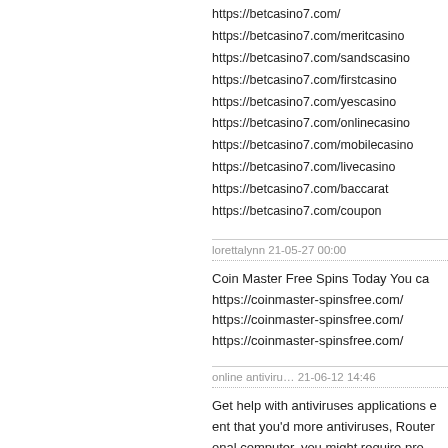https://betcasino7.com/
https://betcasino7.com/meritcasino
https://betcasino7.com/sandscasino
https://betcasino7.com/firstcasino
https://betcasino7.com/yescasino
https://betcasino7.com/onlinecasino
https://betcasino7.com/mobilecasino
https://betcasino7.com/livecasino
https://betcasino7.com/baccarat
https://betcasino7.com/coupon
lorettalynn 21-05-27 00:00
Coin Master Free Spins Today You ca
https://coinmaster-spinsfree.com/
https://coinmaster-spinsfree.com/
https://coinmaster-spinsfree.com/
online antiviru… 21-06-12 14:46
Get help with antiviruses applications ent that you'd more antiviruses, Router onal computer, you might require pro…